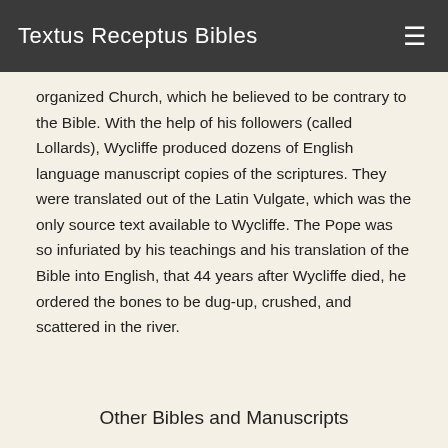Textus Receptus Bibles
organized Church, which he believed to be contrary to the Bible. With the help of his followers (called Lollards), Wycliffe produced dozens of English language manuscript copies of the scriptures. They were translated out of the Latin Vulgate, which was the only source text available to Wycliffe. The Pope was so infuriated by his teachings and his translation of the Bible into English, that 44 years after Wycliffe died, he ordered the bones to be dug-up, crushed, and scattered in the river.
Other Bibles and Manuscripts